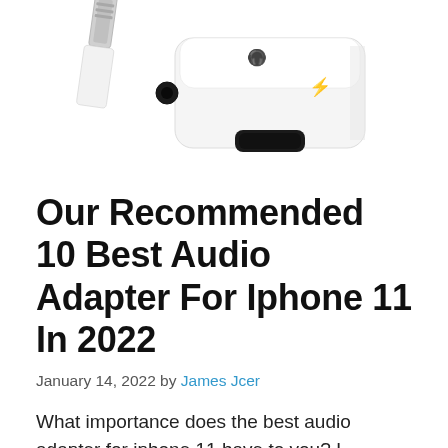[Figure (photo): Product photo of a white Lightning to 3.5mm audio jack adapter with dual ports — one for headphones and one for charging. Two adapters shown at different angles against a white background.]
Our Recommended 10 Best Audio Adapter For Iphone 11 In 2022
January 14, 2022 by James Jcer
What importance does the best audio adapter for iphone 11 have to you? I congratulate you! We will save you the trouble of reading through thousands of